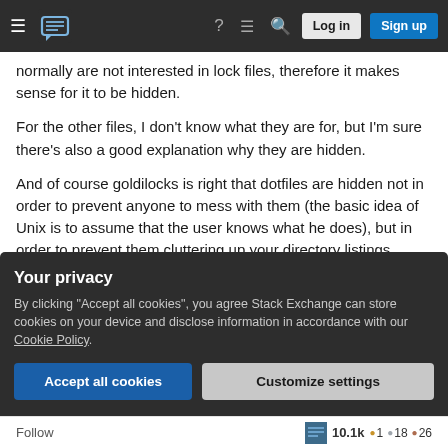Stack Exchange navigation bar with hamburger menu, logo, help, chat, search, Log in, Sign up
normally are not interested in lock files, therefore it makes sense for it to be hidden.
For the other files, I don't know what they are for, but I'm sure there's also a good explanation why they are hidden.
And of course goldilocks is right that dotfiles are hidden not in order to prevent anyone to mess with them (the basic idea of Unix is to assume that the user knows what he does), but in order to prevent them cluttering up your directory listings (although
Your privacy
By clicking "Accept all cookies", you agree Stack Exchange can store cookies on your device and disclose information in accordance with our Cookie Policy.
Accept all cookies
Customize settings
Follow   10.1k  1  18  26